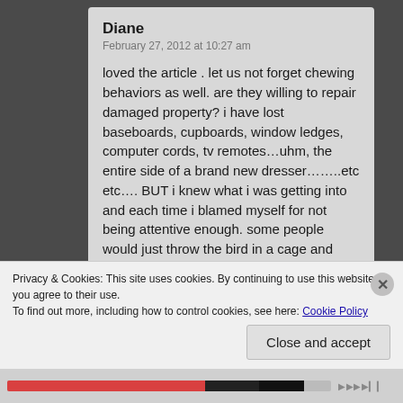Diane
February 27, 2012 at 10:27 am
loved the article . let us not forget chewing behaviors as well. are they willing to repair damaged property? i have lost baseboards, cupboards, window ledges, computer cords, tv remotes...uhm, the entire side of a brand new dresser.......etc etc.... BUT i knew what i was getting into and each time i blamed myself for not being attentive enough. some people would just throw the bird in a cage and lock it there forever creating further issues by causing that bird to scream in frustration or pluck. many people ask me why i still have my birds after all the damage
Privacy & Cookies: This site uses cookies. By continuing to use this website, you agree to their use.
To find out more, including how to control cookies, see here: Cookie Policy
Close and accept